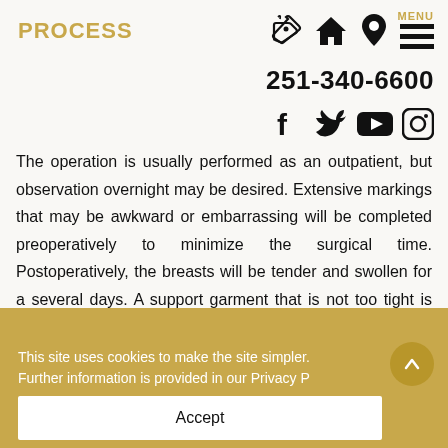PROCESS
[Figure (screenshot): Navigation icons: tag/star icon, home icon, location pin icon, menu icon with MENU label]
251-340-6600
[Figure (screenshot): Social media icons: Facebook, Twitter, YouTube, Instagram]
The operation is usually performed as an outpatient, but observation overnight may be desired. Extensive markings that may be awkward or embarrassing will be completed preoperatively to minimize the surgical time. Postoperatively, the breasts will be tender and swollen for a several days. A support garment that is not too tight is helpful for healing and pain control. Dressings are used to collect minor oozing. Drains are occasionally necessary. Swelling and bruising will
This site uses cookies to make the site simpler. Further information is provided in our Privacy P
Accept